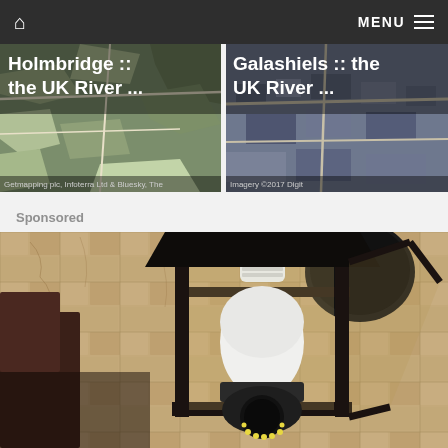MENU
[Figure (screenshot): Map thumbnail of Holmbridge :: the UK River ... with attribution: Getmapping plc, Infoterra Ltd & Bluesky, The]
[Figure (screenshot): Map thumbnail of Galashiels :: the UK River ... with attribution: Imagery ©2017 Digit]
Sponsored
[Figure (photo): Close-up photo of a black outdoor wall lantern light fixture mounted on a textured stone wall, containing a white LED security camera bulb with visible camera lens at the bottom]